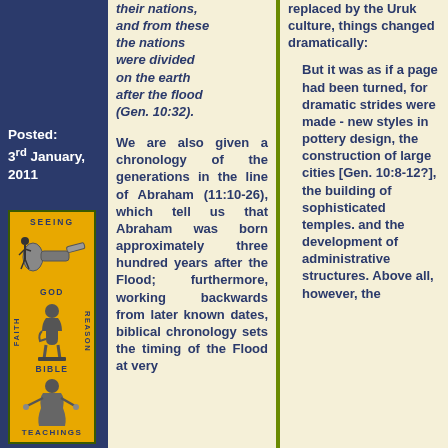Posted: 3rd January, 2011
[Figure (illustration): Yellow box with illustrations: top section shows 'SEEING GOD' with telescope/microscope image, middle section shows 'FAITH REASON' with Rodin's Thinker statue, bottom section shows 'BIBLE TEACHINGS' with a figure preaching]
their nations, and from these the nations were divided on the earth after the flood (Gen. 10:32). We are also given a chronology of the generations in the line of Abraham (11:10-26), which tell us that Abraham was born approximately three hundred years after the Flood; furthermore, working backwards from later known dates, biblical chronology sets the timing of the Flood at very
replaced by the Uruk culture, things changed dramatically: But it was as if a page had been turned, for dramatic strides were made - new styles in pottery design, the construction of large cities [Gen. 10:8-12?], the building of sophisticated temples. and the development of administrative structures. Above all, however, the